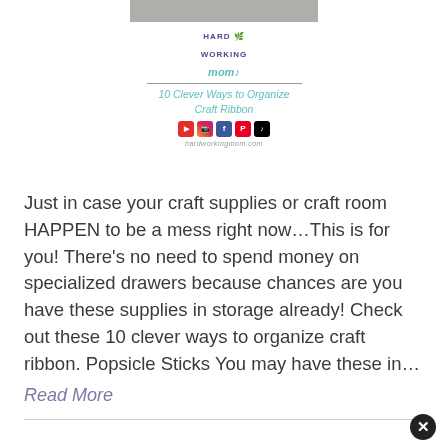[Figure (illustration): Top portion of a blog post card showing a photo strip of a craft room, the Hard Working Mom logo with teal cursive text, teal divider lines, a teal italic title, social media icons (YouTube, Instagram, Facebook, Pinterest, TikTok), and the website URL hardworkingmom.com]
10 Clever Ways to Organize Craft Ribbon
Just in case your craft supplies or craft room HAPPEN to be a mess right now...This is for you! There's no need to spend money on specialized drawers because chances are you have these supplies in storage already! Check out these 10 clever ways to organize craft ribbon. Popsicle Sticks You may have these in...
Read More